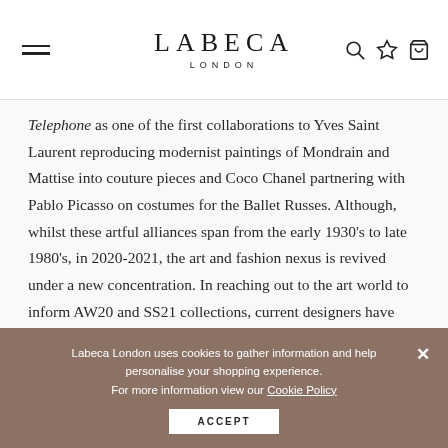LABECA LONDON
Telephone as one of the first collaborations to Yves Saint Laurent reproducing modernist paintings of Mondrain and Mattise into couture pieces and Coco Chanel partnering with Pablo Picasso on costumes for the Ballet Russes. Although, whilst these artful alliances span from the early 1930's to late 1980's, in 2020-2021, the art and fashion nexus is revived under a new concentration. In reaching out to the art world to inform AW20 and SS21 collections, current designers have been producing limited-edition wearable works of art invested in a 'sustainable
Labeca London uses cookies to gather information and help personalise your shopping experience. For more information view our Cookie Policy